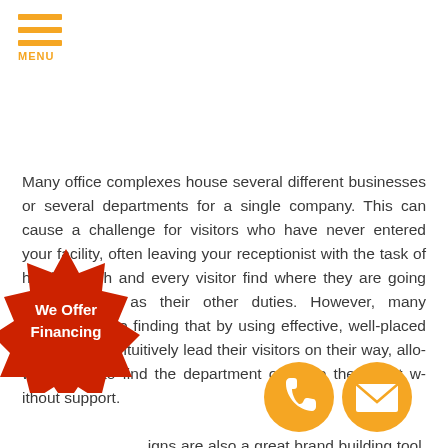MENU
Many office complexes house several different businesses or several departments for a single company. This can cause a challenge for visitors who have never entered your facility, often leaving your receptionist with the task of helping each and every visitor find where they are going and as well as their other duties. However, many businesses are finding that by using effective, well-placed signage, can intuitively lead their visitors on their way, allowing them to find the department or office they want without support. Signs are also a great brand building tool. Large wall murals, floor signs, even seat cushions can be utilized to share information about your business
[Figure (illustration): Red starburst badge with text 'We Offer Financing']
[Figure (illustration): Orange circle with phone/call icon]
[Figure (illustration): Orange circle with email/envelope icon]